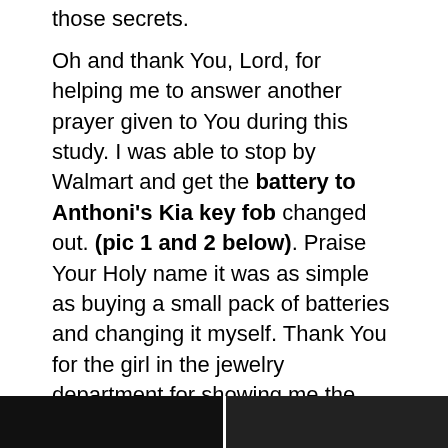those secrets.
Oh and thank You, Lord, for helping me to answer another prayer given to You during this study. I was able to stop by Walmart and get the battery to Anthoni's Kia key fob changed out. (pic 1 and 2 below). Praise Your Holy name it was as simple as buying a small pack of batteries and changing it myself. Thank You for the girl in the jewelry department for showing me the info and demo. Thank You for not having to go to a dealership or anything expensive. I'm still praying about the Explorer keys.
[Figure (photo): Two photos side by side at the bottom of the page, partially visible. Left photo shows a dark image, right photo shows another dark image.]